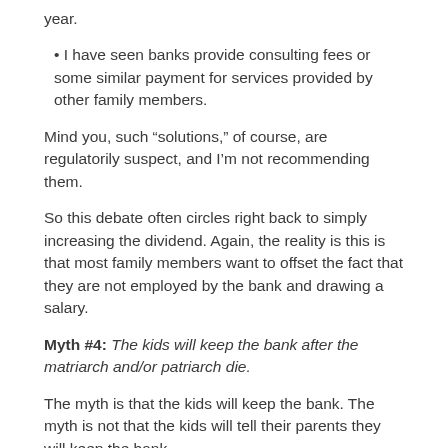year.
I have seen banks provide consulting fees or some similar payment for services provided by other family members.
Mind you, such “solutions,” of course, are regulatorily suspect, and I’m not recommending them.
So this debate often circles right back to simply increasing the dividend. Again, the reality is this is that most family members want to offset the fact that they are not employed by the bank and drawing a salary.
Myth #4: The kids will keep the bank after the matriarch and/or patriarch die.
The myth is that the kids will keep the bank. The myth is not that the kids will tell their parents they will keep the bank.